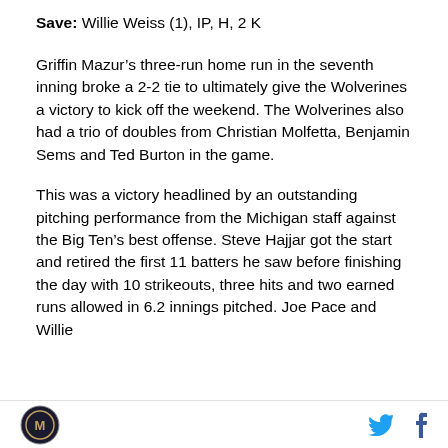Save: Willie Weiss (1), IP, H, 2 K
Griffin Mazur’s three-run home run in the seventh inning broke a 2-2 tie to ultimately give the Wolverines a victory to kick off the weekend. The Wolverines also had a trio of doubles from Christian Molfetta, Benjamin Sems and Ted Burton in the game.
This was a victory headlined by an outstanding pitching performance from the Michigan staff against the Big Ten’s best offense. Steve Hajjar got the start and retired the first 11 batters he saw before finishing the day with 10 strikeouts, three hits and two earned runs allowed in 6.2 innings pitched. Joe Pace and Willie
logo and social icons